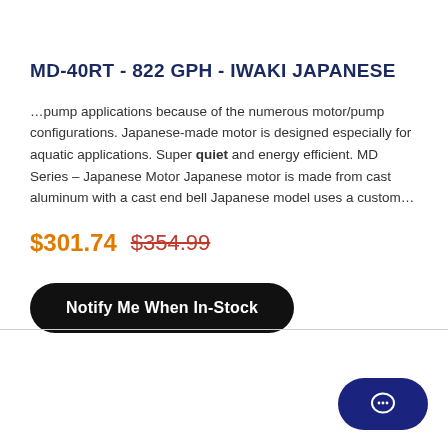MD-40RT - 822 GPH - IWAKI JAPANESE
…pump applications because of the numerous motor/pump configurations. Japanese-made motor is designed especially for aquatic applications. Super quiet and energy efficient. MD Series – Japanese Motor Japanese motor is made from cast aluminum with a cast end bell Japanese model uses a custom…
$301.74  $354.99
Notify Me When In-Stock